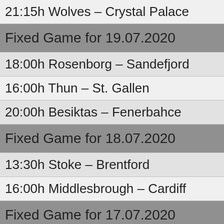21:15h Wolves – Crystal Palace
Fixed Game for 19.07.2020
18:00h Rosenborg – Sandefjord
16:00h Thun – St. Gallen
20:00h Besiktas – Fenerbahce
Fixed Game for 18.07.2020
13:30h Stoke – Brentford
16:00h Middlesbrough – Cardiff
Fixed Game for 17.07.2020
21:15h Grindavik – Fram
21:00h Mirandes – La Coruna